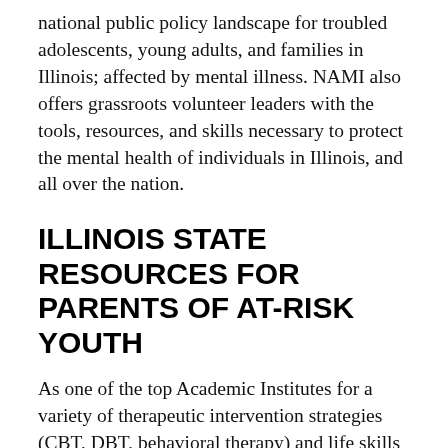national public policy landscape for troubled adolescents, young adults, and families in Illinois; affected by mental illness. NAMI also offers grassroots volunteer leaders with the tools, resources, and skills necessary to protect the mental health of individuals in Illinois, and all over the nation.
ILLINOIS STATE RESOURCES FOR PARENTS OF AT-RISK YOUTH
As one of the top Academic Institutes for a variety of therapeutic intervention strategies (CBT, DBT, behavioral therapy) and life skills development and experiential education in the nation, Turning Winds prescribes to the convictions of these premier authorities of volunteers and expert practitioners.